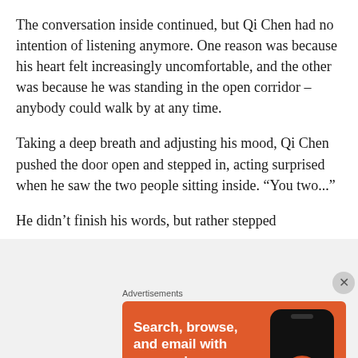The conversation inside continued, but Qi Chen had no intention of listening anymore. One reason was because his heart felt increasingly uncomfortable, and the other was because he was standing in the open corridor – anybody could walk by at any time.
Taking a deep breath and adjusting his mood, Qi Chen pushed the door open and stepped in, acting surprised when he saw the two people sitting inside. “You two...”
He didn’t finish his words, but rather stepped
Advertisements
[Figure (infographic): DuckDuckGo advertisement banner with orange background. Text reads: Search, browse, and email with more privacy. All in One Free App. Shows a smartphone with the DuckDuckGo duck logo.]